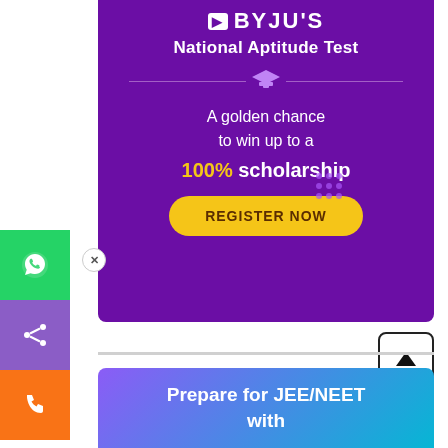[Figure (infographic): BYJU'S National Aptitude Test advertisement banner on purple background. Shows graduation cap icon, text 'A golden chance to win up to a 100% scholarship', and a gold 'REGISTER NOW' button with decorative dots pattern.]
[Figure (infographic): Social media and contact sidebar buttons: WhatsApp (green), Share (purple), Phone (orange).]
[Figure (infographic): Scroll to top button - black arrow in rounded square border.]
[Figure (infographic): Bottom banner with gradient background (purple to cyan) showing 'Prepare for JEE/NEET with' in white bold text.]